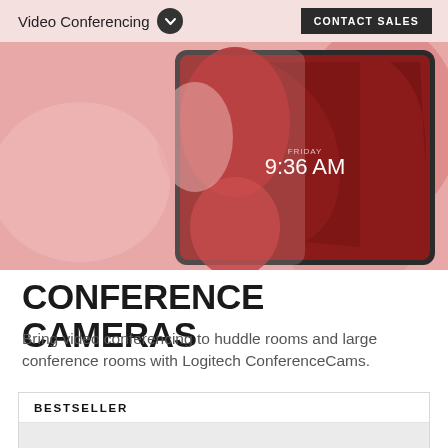Video Conferencing  CONTACT SALES
[Figure (photo): Hero image showing a tablet or phone screen with a dark red abstract wallpaper and the time '9:36 AM' on display, set against a pink-toned blurred background]
CONFERENCE CAMERAS
Bring video conferencing to huddle rooms and large conference rooms with Logitech ConferenceCams.
BESTSELLER